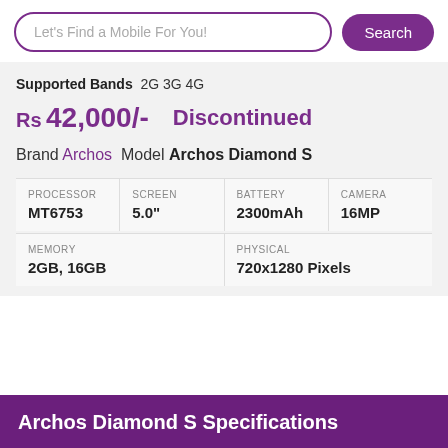Let's Find a Mobile For You!  Search
Supported Bands  2G 3G 4G
Rs 42,000/-   Discontinued
Brand Archos  Model Archos Diamond S
| PROCESSOR | SCREEN | BATTERY | CAMERA |
| --- | --- | --- | --- |
| MT6753 | 5.0" | 2300mAh | 16MP |
| MEMORY | PHYSICAL |
| --- | --- |
| 2GB, 16GB | 720x1280 Pixels |
Archos Diamond S Specifications